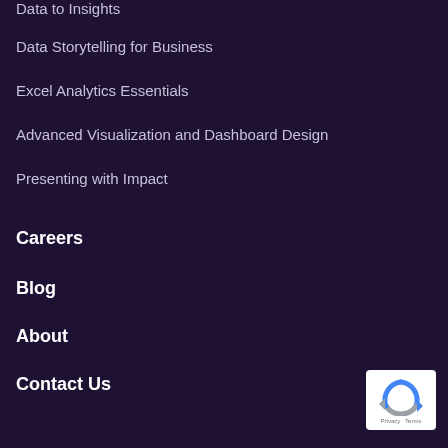Data to Insights
Data Storytelling for Business
Excel Analytics Essentials
Advanced Visualization and Dashboard Design
Presenting with Impact
Careers
Blog
About
Contact Us
[Figure (logo): Google reCAPTCHA badge with Privacy and Terms links]